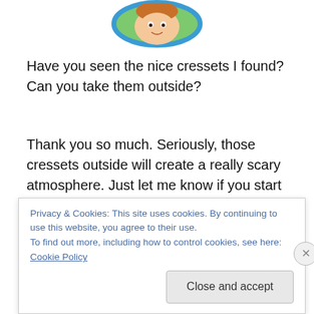[Figure (illustration): Partial screenshot of a game character portrait at the top center of the page — a cartoon character with an illustrated face inside a circular/oval blue border.]
Have you seen the nice cressets I found? Can you take them outside?
Thank you so much. Seriously, those cressets outside will create a really scary atmosphere. Just let me know if you start getting scared. Haha.
Objectives: Bring the cressets outside, then talk to Loretta.
Rewards: 10 Jorvik Shillings, 15 XP
Privacy & Cookies: This site uses cookies. By continuing to use this website, you agree to their use.
To find out more, including how to control cookies, see here: Cookie Policy